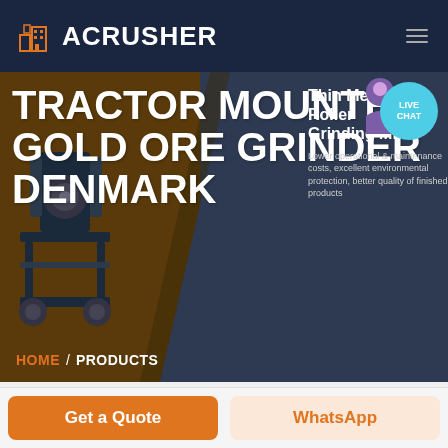[Figure (screenshot): Acrusher website header with orange building logo, white ACRUSHER text on dark navy background, hamburger menu icon on right]
TRACTOR MOUNTED GOLD ORE GRINDER DENMARK
Thin Medium Roller Grinding Mill
Lower operational & maintenance costs, excellent environmental protection, better quality of finished products
HOME / PRODUCTS
Get a Quote
WhatsApp